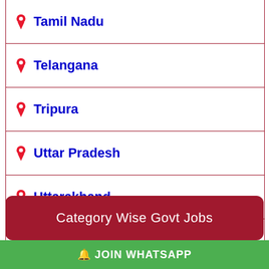Tamil Nadu
Telangana
Tripura
Uttar Pradesh
Uttarakhand
West Bengal
Category Wise Govt Jobs
🔔 JOIN WHATSAPP